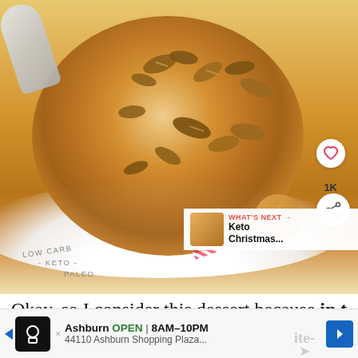[Figure (photo): Overhead photo of a white speckled bowl filled with keto porridge/oatmeal topped with chopped pecans, with a silver spoon. Text on bowl rim reads 'LOW CARB - KETO - PALEO'. Watermark text 'ketodietapp.co' and 'REAL FOOD & HEAL THI...' visible. UI overlay elements: heart/like button, '1K' count, share button, 'WHAT'S NEXT → Keto Christmas...' preview box.]
Okay..so I consider this dessert because in the
Ashburn OPEN 8AM–10PM 44110 Ashburn Shopping Plaza...